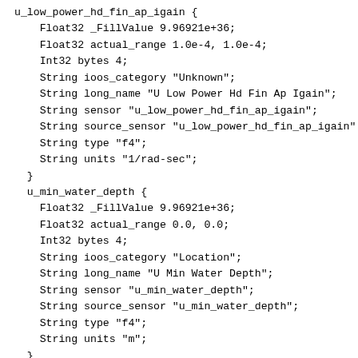u_low_power_hd_fin_ap_igain {
    Float32 _FillValue 9.96921e+36;
    Float32 actual_range 1.0e-4, 1.0e-4;
    Int32 bytes 4;
    String ioos_category "Unknown";
    String long_name "U Low Power Hd Fin Ap Igain";
    String sensor "u_low_power_hd_fin_ap_igain";
    String source_sensor "u_low_power_hd_fin_ap_igain";
    String type "f4";
    String units "1/rad-sec";
  }
  u_min_water_depth {
    Float32 _FillValue 9.96921e+36;
    Float32 actual_range 0.0, 0.0;
    Int32 bytes 4;
    String ioos_category "Location";
    String long_name "U Min Water Depth";
    String sensor "u_min_water_depth";
    String source_sensor "u_min_water_depth";
    String type "f4";
    String units "m";
  }
  u_pitch_ap_deadband {
    Float32 _FillValue 9.96921e+36;
    Float32 actual_range 0.0524, 0.0524;
    Int32 bytes 4;